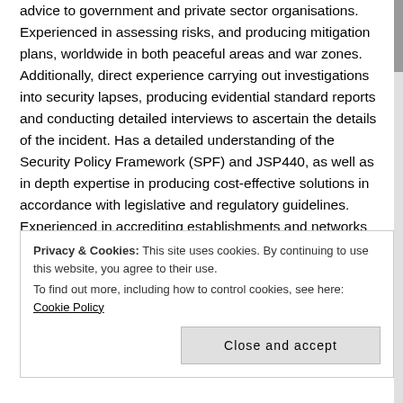advice to government and private sector organisations. Experienced in assessing risks, and producing mitigation plans, worldwide in both peaceful areas and war zones. Additionally, direct experience carrying out investigations into security lapses, producing evidential standard reports and conducting detailed interviews to ascertain the details of the incident. Has a detailed understanding of the Security Policy Framework (SPF) and JSP440, as well as in depth expertise in producing cost-effective solutions in accordance with legislative and regulatory guidelines. Experienced in accrediting establishments and networks as well as project managing the development of secure, compliant, workable business processes.
Privacy & Cookies: This site uses cookies. By continuing to use this website, you agree to their use. To find out more, including how to control cookies, see here: Cookie Policy
Close and accept